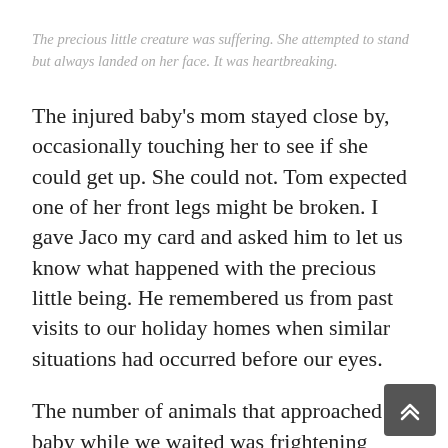The precious little creature was suffering. She attempted to stand but always landed on her face. It was heartbreaking.
The injured baby's mom stayed close by, occasionally touching her to see if she could get up. She could not. Tom expected one of her front legs might be broken. I gave Jaco my card and asked him to let us know what happened with the precious little being. He remembered us from past visits to our holiday homes when similar situations had occurred before our eyes.
The number of animals that approached the baby while we waited was frightening during this period. A band of mongoose whom we'd fed paloney minutes before this transpired was hoping she'd die so they could eat the meat. Even Lollie, whom we also had to chase away, seemed annoyed by the baby's presence